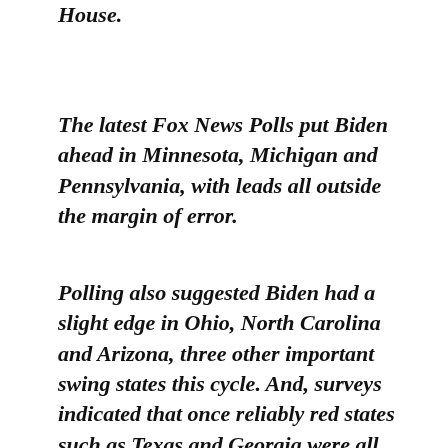House.
The latest Fox News Polls put Biden ahead in Minnesota, Michigan and Pennsylvania, with leads all outside the margin of error.
Polling also suggested Biden had a slight edge in Ohio, North Carolina and Arizona, three other important swing states this cycle. And, surveys indicated that once reliably red states such as Texas and Georgia were all knotted up between Trump and the former vice president.